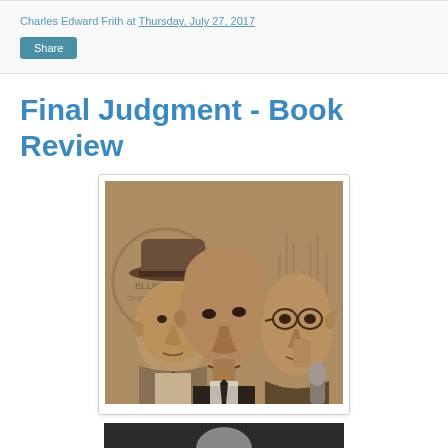Charles Edward Frith at Thursday, July 27, 2017
Final Judgment - Book Review
[Figure (photo): Sepia-toned composite photo showing three men against a background featuring a CIA seal and a menorah. Left: man wearing a hat and suit with tie. Center: older bald man in dark suit. Right: older man wearing glasses.]
[Figure (photo): Partial photo visible at bottom of page, cropped.]